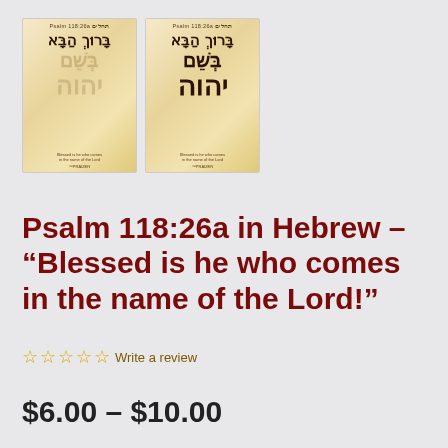[Figure (photo): Two product images side by side showing Hebrew scripture posters (Psalm 118:26a). The left poster shows the Hebrew text faded/preview style, the right shows full color Hebrew text on a parchment-style background.]
Psalm 118:26a in Hebrew – “Blessed is he who comes in the name of the Lord!”
☆☆☆☆☆  Write a review
$6.00 – $10.00